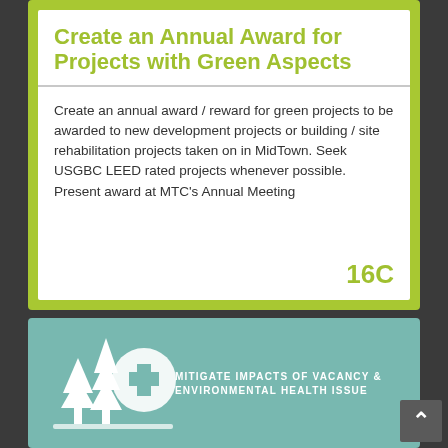Create an Annual Award for Projects with Green Aspects
Create an annual award / reward for green projects to be awarded to new development projects or building / site rehabilitation projects taken on in MidTown. Seek USGBC LEED rated projects whenever possible. Present award at MTC's Annual Meeting
16C
[Figure (illustration): White icon of trees and a medical cross symbol on teal/green background, above text reading MITIGATE IMPACTS OF VACANCY & ENVIRONMENTAL HEALTH ISSUE]
MITIGATE IMPACTS OF VACANCY & ENVIRONMENTAL HEALTH ISSUE